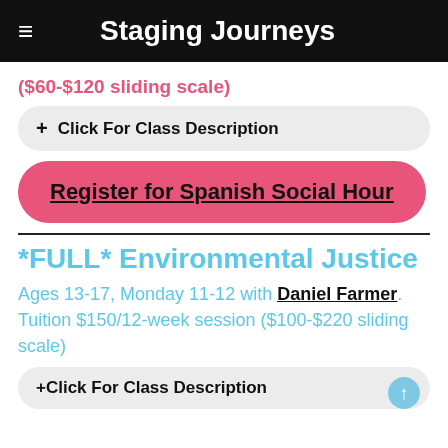Staging Journeys
($60-$120 sliding scale)
+ Click For Class Description
Register for Spanish Social Hour
*FULL* Environmental Justice
Ages 13-17, Monday 11-12 with Daniel Farmer. Tuition $150/12-week session ($100-$220 sliding scale)
+ Click For Class Description